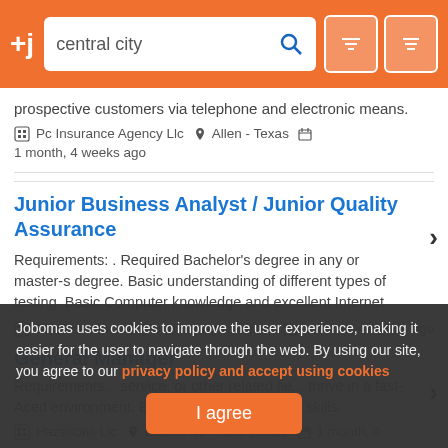+j  central city [search] [filter] [menu]
prospective customers via telephone and electronic means.
Pc Insurance Agency Llc  Allen - Texas  1 month, 4 weeks ago
Junior Business Analyst / Junior Quality Assurance
Requirements: . Required Bachelor's degree in any or master-s degree. Basic understanding of different types of testing. Basic Computer knowledge and excellent Internet
TekFocus Inc  Dunn Loring - Virginia  1 month, 4 weeks ago
General Manager
Requirements... service; or other related fie... thrive in a fast- Aced environment. Excellent wr... munication skills.
Hazeltons Llc  Linden NJ - New Jersey  1 month, 4
Jobomas uses cookies to improve the user experience, making it easier for the user to navigate through the web. By using our site, you agree to our privacy policy and accept using cookies
I agree